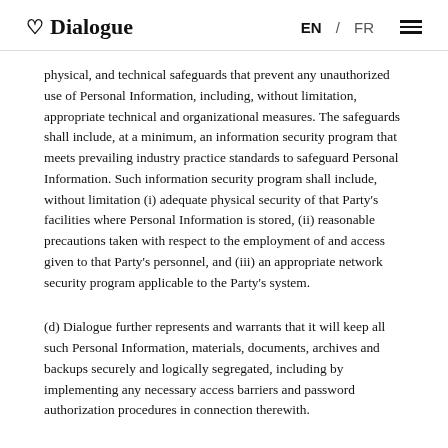Dialogue EN / FR
physical, and technical safeguards that prevent any unauthorized use of Personal Information, including, without limitation, appropriate technical and organizational measures. The safeguards shall include, at a minimum, an information security program that meets prevailing industry practice standards to safeguard Personal Information. Such information security program shall include, without limitation (i) adequate physical security of that Party's facilities where Personal Information is stored, (ii) reasonable precautions taken with respect to the employment of and access given to that Party's personnel, and (iii) an appropriate network security program applicable to the Party's system.
(d) Dialogue further represents and warrants that it will keep all such Personal Information, materials, documents, archives and backups securely and logically segregated, including by implementing any necessary access barriers and password authorization procedures in connection therewith.